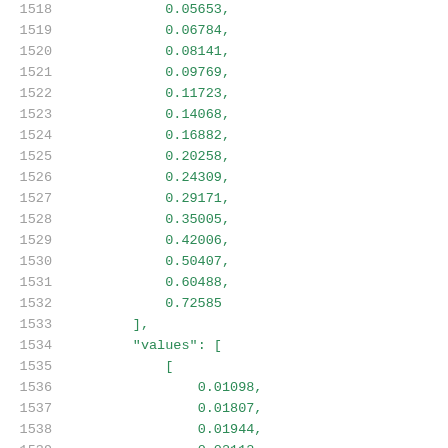Code listing lines 1518-1539 showing numeric array values and a 'values' key with nested array beginning
| line | code |
| --- | --- |
| 1518 |             0.05653, |
| 1519 |             0.06784, |
| 1520 |             0.08141, |
| 1521 |             0.09769, |
| 1522 |             0.11723, |
| 1523 |             0.14068, |
| 1524 |             0.16882, |
| 1525 |             0.20258, |
| 1526 |             0.24309, |
| 1527 |             0.29171, |
| 1528 |             0.35005, |
| 1529 |             0.42006, |
| 1530 |             0.50407, |
| 1531 |             0.60488, |
| 1532 |             0.72585 |
| 1533 |         ], |
| 1534 |         "values": [ |
| 1535 |             [ |
| 1536 |                 0.01098, |
| 1537 |                 0.01807, |
| 1538 |                 0.01944, |
| 1539 |                 ... |